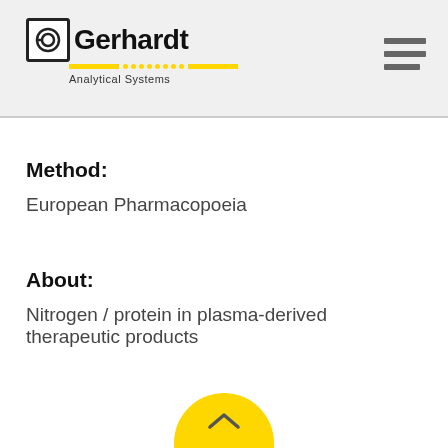Gerhardt Analytical Systems
Method:
European Pharmacopoeia
About:
Nitrogen / protein in plasma-derived therapeutic products